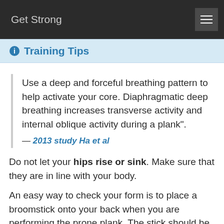Get Strong
Training Tips
Use a deep and forceful breathing pattern to help activate your core. Diaphragmatic deep breathing increases transverse activity and internal oblique activity during a plank".
— 2013 study Ha et al
Do not let your hips rise or sink. Make sure that they are in line with your body.
An easy way to check your form is to place a broomstick onto your back when you are performing the prone plank. The stick should be